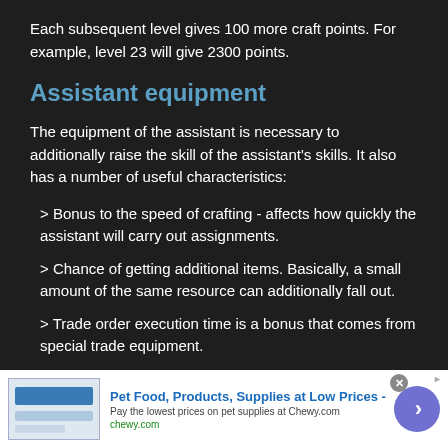Each subsequent level gives 100 more craft points. For example, level 23 will give 2300 points.
Assistant equipment
The equipment of the assistant is necessary to additionally raise the skill of the assistant's skills. It also has a number of useful characteristics:
> Bonus to the speed of crafting - affects how quickly the assistant will carry out assignments.
> Chance of getting additional items. Basically, a small amount of the same resource can additionally fall out.
> Trade order execution time is a bonus that comes from special trade equipment.
> Reduced yield - the name speaks for itself.
[Figure (screenshot): Advertisement banner for Chewy.com pet food and supplies]